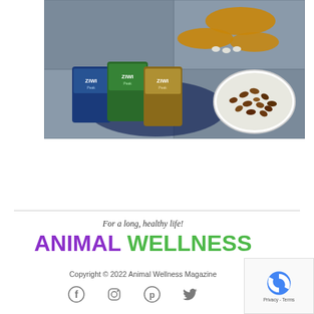[Figure (photo): Overhead shot of a golden retriever's paws on slate tile next to Ziwi Peak brand pet food bags and a white bowl filled with dry dog food/kibble. Dark navy blue mat visible under the food bags.]
For a long, healthy life!
ANIMAL WELLNESS
Copyright © 2022 Animal Wellness Magazine
Copyright © 2022 Animal Wellness Magazine